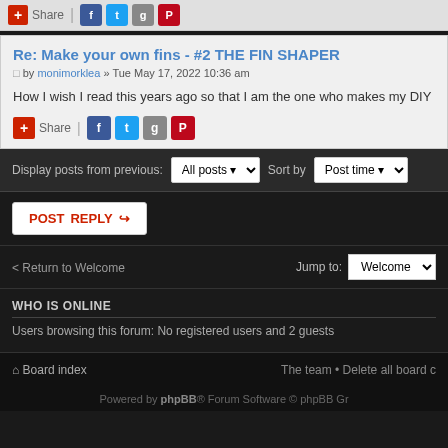Re: Make your own fins - #2 THE FIN SHAPER
by monimorklea » Tue May 17, 2022 10:36 am
How I wish I read this years ago so that I am the one who makes my DIY
Display posts from previous: All posts Sort by Post time
POSTREPLY
Return to Welcome
Jump to: Welcome
WHO IS ONLINE
Users browsing this forum: No registered users and 2 guests
Board index   The team • Delete all board c
Powered by phpBB® Forum Software © phpBB Gr